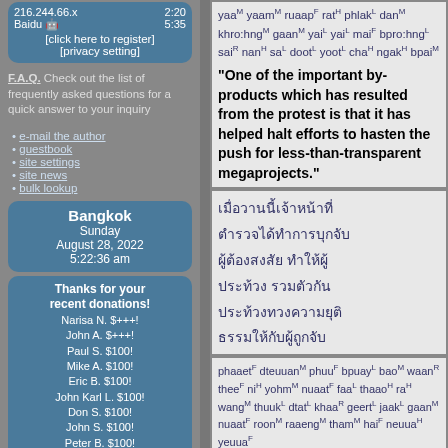216.244.66.x  2:20
Baidu  5:35
[click here to register]
[privacy setting]
F.A.Q. Check out the list of frequently asked questions for a quick answer to your inquiry
e-mail the author
guestbook
site settings
site news
bulk lookup
Bangkok
Sunday
August 28, 2022
5:22:36 am
Thanks for your recent donations!
Narisa N. $+++!
John A. $+++!
Paul S. $100!
Mike A. $100!
Eric B. $100!
John Karl L. $100!
Don S. $100!
John S. $100!
Peter B. $100!
Ingo B $50
Peter d C $50
Hans G $50
yaaM yaamM ruaapF ratH phlakL danM khro:hngM gaanM yaiL yaiL maiF bpro:hngL saiR nanH saL dootL yootL chaH ngakH bpaiM
"One of the important by-products which has resulted from the protest is that it has helped halt efforts to hasten the push for less-than-transparent megaprojects."
Thai script block (transliteration below)
phaaetF dteuuanM phuuF bpuayL baoM waanR theeF niH yohmM nuaatF faaL thaaoH raH wangM thuukL dtatL khaaR geertL jaakL gaanM nuaatF roonM raaengM thamM haiF neuuaH yeuuaF